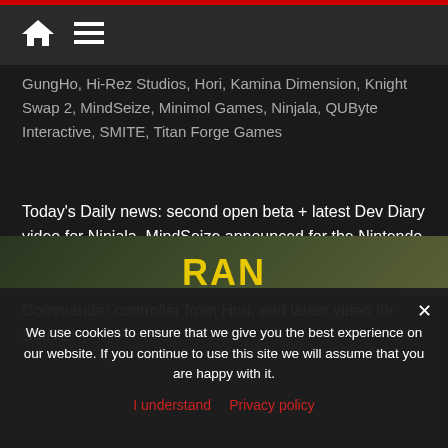GungHo, Hi-Rez Studios, Hori, Kamina Dimension, Knight Swap 2, MindSeize, Minimol Games, Ninjala, QUByte Interactive, SMITE, Titan Forge Games
Today's Daily news: second open beta + latest Dev Diary video for Ninjala, MindSeize announced for the Nintendo Switch, Mainichi ♪ Emiya-san Chi no Kyou no Gohan delayed, launch trailer for Knight Swap 2, Fighting Commander controller from Hori, and latest video for SMITE!
Read more
We use cookies to ensure that we give you the best experience on our website. If you continue to use this site we will assume that you are happy with it.
I understand   Privacy policy